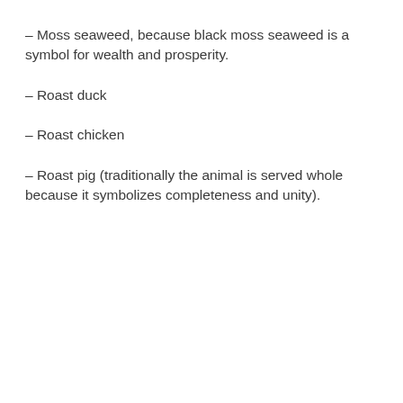– Moss seaweed, because black moss seaweed is a symbol for wealth and prosperity.
– Roast duck
– Roast chicken
– Roast pig (traditionally the animal is served whole because it symbolizes completeness and unity).